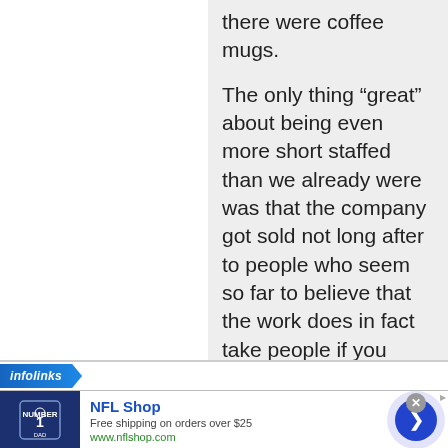there were coffee mugs.
The only thing “great” about being even more short staffed than we already were was that the company got sold not long after to people who seem so far to believe that the work does in fact take people if you want it to get done.
I threw the coffee mug away.
[Figure (screenshot): Infolinks advertisement banner for NFL Shop showing 'Free shipping on orders over $25' at www.nflshop.com with a Dallas Cowboys jersey image and navigation arrow button]